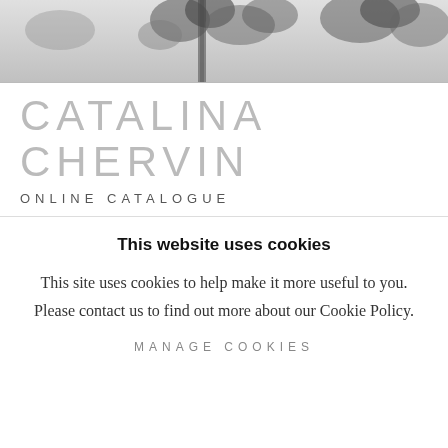[Figure (photo): Grainy black and white photo strip showing partial tree branches and foliage against a light sky, cropped at the top of the page.]
CATALINA CHERVIN
ONLINE CATALOGUE
This website uses cookies
This site uses cookies to help make it more useful to you. Please contact us to find out more about our Cookie Policy.
MANAGE COOKIES
ACCEPT